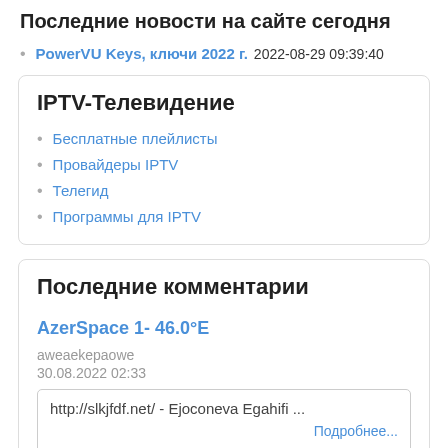Последние новости на сайте сегодня
PowerVU Keys, ключи 2022 г. 2022-08-29 09:39:40
IPTV-Телевидение
Бесплатные плейлисты
Провайдеры IPTV
Телегид
Программы для IPTV
Последние комментарии
AzerSpace 1- 46.0°E
aweaekepaowe
30.08.2022 02:33
http://slkjfdf.net/ - Ejoconeva Egahifi ... Подробнее...
Astra 4A 4.8°E